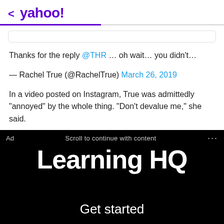< yahoo!
Thanks for the reply @THR ... oh wait... you didn't...
— Rachel True (@RachelTrue) March 26, 2019
In a video posted on Instagram, True was admittedly “annoyed” by the whole thing. “Don’t devalue me,” she said.
[Figure (screenshot): Ad banner for Learning HQ showing white bold text on black background with 'Learning HQ' logo and 'Get started' text below. Ad bar at top shows 'Ad', 'Scroll to continue with content', and '...' menu.]